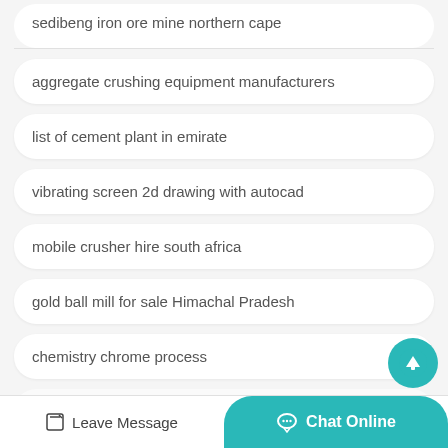sedibeng iron ore mine northern cape
aggregate crushing equipment manufacturers
list of cement plant in emirate
vibrating screen 2d drawing with autocad
mobile crusher hire south africa
gold ball mill for sale Himachal Pradesh
chemistry chrome process
(partial text)
Leave Message   Chat Online